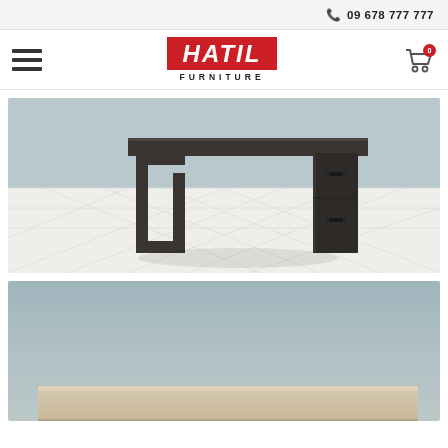09 678 777 777
[Figure (logo): HATIL FURNITURE logo - red background with white italic bold text HATIL, FURNITURE subtitle below]
[Figure (photo): Product photo showing a dark metal-framed office desk structure with geometric square frame legs, black cabinet/pedestal on the right side with drawer handles, on white marble tile floor with light blue wall background]
[Figure (photo): Second product photo showing a furniture piece against light blue-grey wall background, partial view showing top surface edge in beige/cream color at bottom]